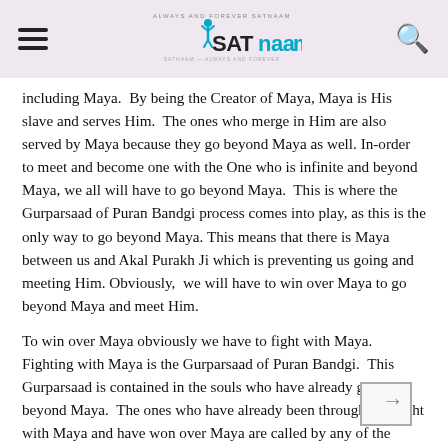SATNAAM — Always and Forever Satnaam
including Maya.  By being the Creator of Maya, Maya is His slave and serves Him.  The ones who merge in Him are also served by Maya because they go beyond Maya as well. In-order to meet and become one with the One who is infinite and beyond Maya, we all will have to go beyond Maya.  This is where the Gurparsaad of Puran Bandgi process comes into play, as this is the only way to go beyond Maya. This means that there is Maya between us and Akal Purakh Ji which is preventing us going and meeting Him. Obviously,  we will have to win over Maya to go beyond Maya and meet Him.
To win over Maya obviously we have to fight with Maya.  Fighting with Maya is the Gurparsaad of Puran Bandgi.  This Gurparsaad is contained in the souls who have already gone beyond Maya.  The ones who have already been through this fight with Maya and have won over Maya are called by any of the following synonyms:  Puran